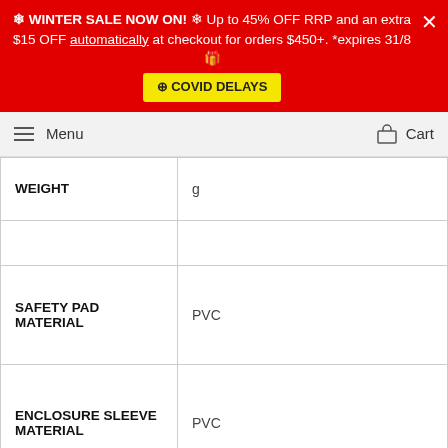❄ WINTER SALE NOW ON! ❄ Up to 45% OFF RRP and an extra $15 OFF automatically at checkout for orders $450+. *expires 31/8 🎁 ⊕ COVID DELAYS
Menu  Cart
| WEIGHT |  |
|  |  |
| SAFETY PAD MATERIAL | PVC |
| ENCLOSURE SLEEVE MATERIAL | PVC |
| SELF ASSEMBLY REQUIRED | Yes |
|  |  |